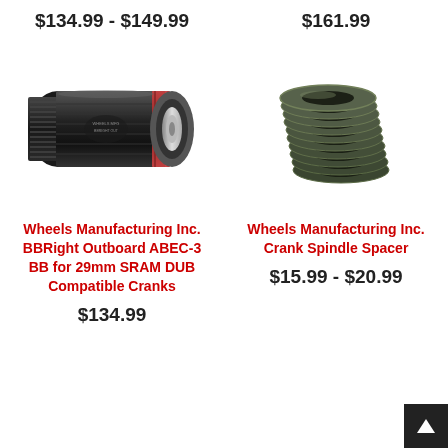$134.99 - $149.99
$161.99
[Figure (photo): Black cylindrical bottom bracket (BBRight Outboard) with red seal ring, angled view showing threads and logo]
[Figure (photo): Stack of dark green/olive colored crank spindle spacer rings piled loosely]
Wheels Manufacturing Inc. BBRight Outboard ABEC-3 BB for 29mm SRAM DUB Compatible Cranks
Wheels Manufacturing Inc. Crank Spindle Spacer
$134.99
$15.99 - $20.99